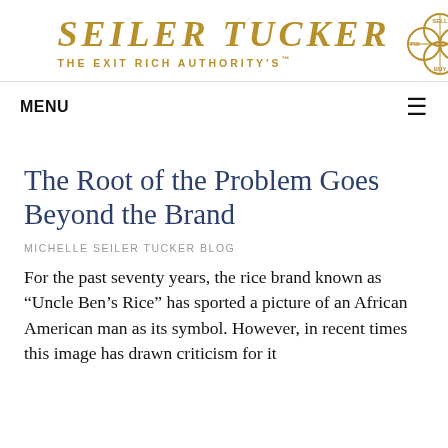SEILER TUCKER THE EXIT RICH AUTHORITY'S™
MENU
The Root of the Problem Goes Beyond the Brand
MICHELLE SEILER TUCKER BLOG
For the past seventy years, the rice brand known as "Uncle Ben's Rice" has sported a picture of an African American man as its symbol. However, in recent times this image has drawn criticism for it...